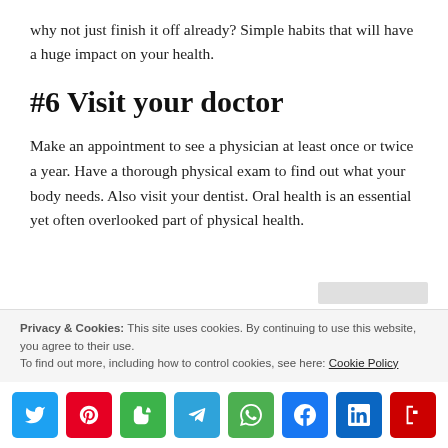why not just finish it off already? Simple habits that will have a huge impact on your health.
#6 Visit your doctor
Make an appointment to see a physician at least once or twice a year. Have a thorough physical exam to find out what your body needs. Also visit your dentist. Oral health is an essential yet often overlooked part of physical health.
Privacy & Cookies: This site uses cookies. By continuing to use this website, you agree to their use. To find out more, including how to control cookies, see here: Cookie Policy
[Figure (other): Social share buttons: Twitter, Pinterest, Evernote, Telegram, WhatsApp, Facebook, LinkedIn, Flipboard]